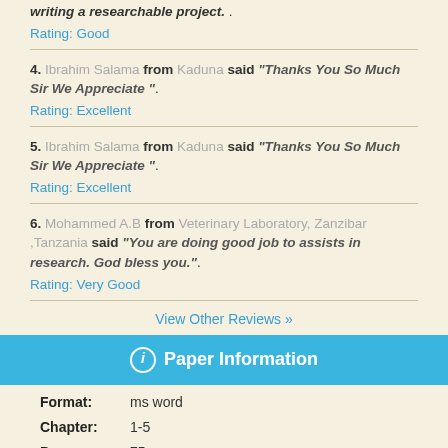writing a researchable project. . Rating: Good
4. Ibrahim Salama from Kaduna said "Thanks You So Much Sir We Appreciate ". Rating: Excellent
5. Ibrahim Salama from Kaduna said "Thanks You So Much Sir We Appreciate ". Rating: Excellent
6. Mohammed A.B from Veterinary Laboratory, Zanzibar ,Tanzania said "You are doing good job to assists in research. God bless you.". Rating: Very Good
View Other Reviews »
ℹ Paper Information
Format: ms word
Chapter: 1-5
Pages: 75